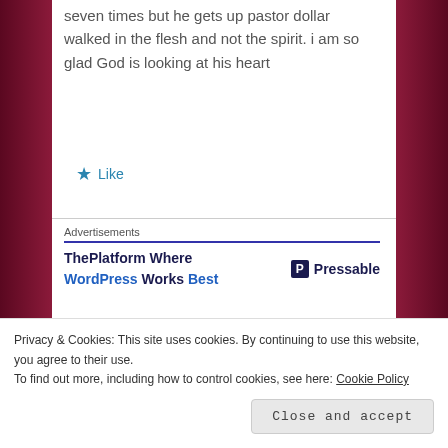seven times but he gets up pastor dollar walked in the flesh and not the spirit. i am so glad God is looking at his heart
Like
Advertisements
[Figure (other): WordPress/Pressable advertisement banner: 'ThePlatform Where WordPress Works Best' with Pressable logo]
ANONYMOUS
Privacy & Cookies: This site uses cookies. By continuing to use this website, you agree to their use. To find out more, including how to control cookies, see here: Cookie Policy
Close and accept
spank your child.